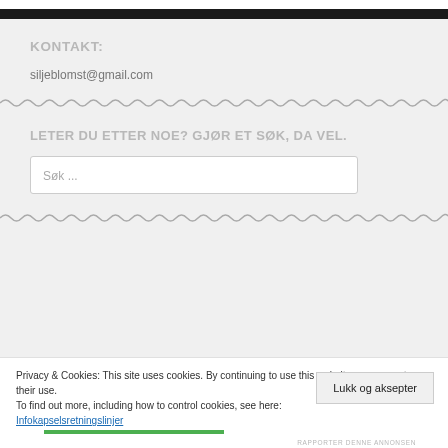KONTAKT:
siljeblomst@gmail.com
LETER DU ETTER NOE? GJØR ET SØK, DA VEL.
Søk ...
Privacy & Cookies: This site uses cookies. By continuing to use this website, you agree to their use.
To find out more, including how to control cookies, see here:
Infokapselsretningslinjer
Lukk og aksepter
RAPPORTER DENNE ANNONSEN